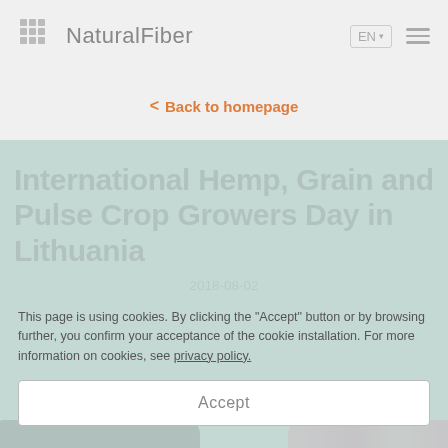NaturalFiber
< Back to homepage
International Hemp, Grain and Pulse Crop Growers Day in Lithuania
2018-08-02
This page is using cookies. By clicking the "Accept" button or by browsing further, you confirm your acceptance of the cookie installation. For more information on cookies, see privacy policy.
Accept